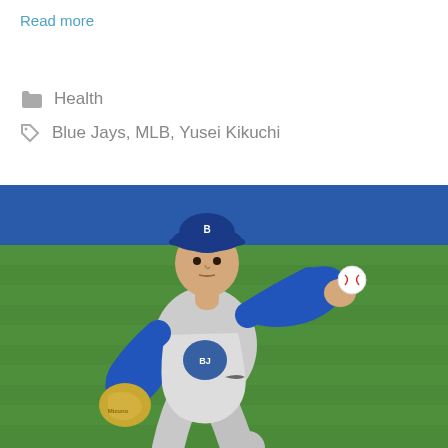Read more
Health
Blue Jays, MLB, Yusei Kikuchi
[Figure (photo): Baseball pitcher Yusei Kikuchi in Toronto Blue Jays uniform (gray with blue accents), wearing a blue Blue Jays cap and yellow Mizuno glove, in a throwing motion on a baseball field with green grass and blue wall in background.]